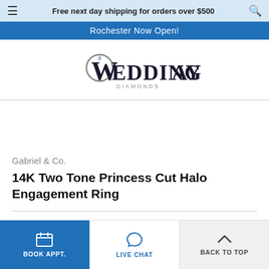Free next day shipping for orders over $500
Rochester Now Open!
[Figure (logo): Wedding Day Diamonds logo — stylized script with ring graphic]
Gabriel & Co.
14K Two Tone Princess Cut Halo Engagement Ring
BOOK APPT. | LIVE CHAT | BACK TO TOP